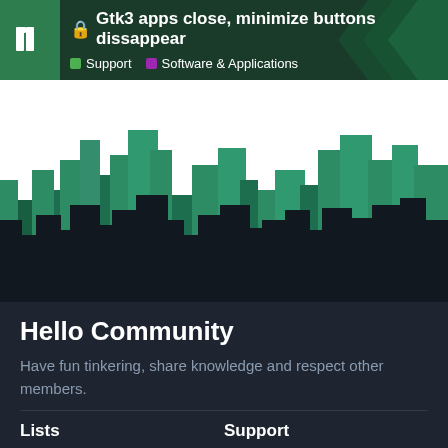🔒 Gtk3 apps close, minimize buttons dissappear | Support | Software & Applications
[Figure (illustration): Manjaro Linux community forum page header with city skyline silhouette in teal and black colors]
Hello Community
Have fun tinkering, share knowledge and respect other members.
Lists
Security
General
Support
Wiki
Archived Forum